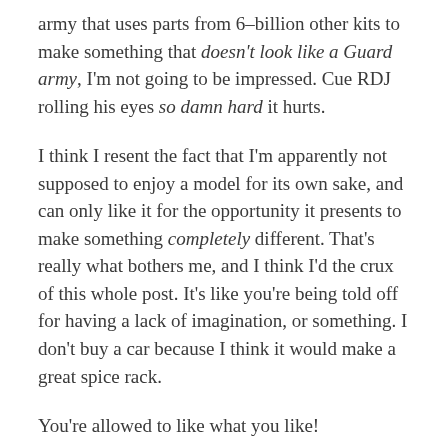army that uses parts from 6-billion other kits to make something that doesn't look like a Guard army, I'm not going to be impressed. Cue RDJ rolling his eyes so damn hard it hurts.
I think I resent the fact that I'm apparently not supposed to enjoy a model for its own sake, and can only like it for the opportunity it presents to make something completely different. That's really what bothers me, and I think I'd the crux of this whole post. It's like you're being told off for having a lack of imagination, or something. I don't buy a car because I think it would make a great spice rack.
You're allowed to like what you like!